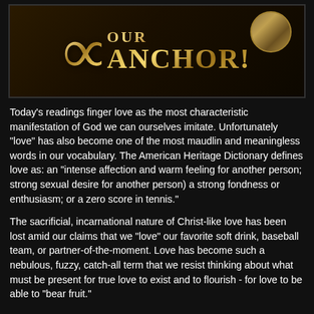[Figure (illustration): Dark wooden background banner with large golden infinity symbol on the left and text 'OUR ANCHOR!' in gold metallic letters on the right, with a coin/medallion in the upper right corner.]
Today's readings finger love as the most characteristic manifestation of God we can ourselves imitate. Unfortunately "love" has also become one of the most maudlin and meaningless words in our vocabulary. The American Heritage Dictionary defines love as: an "intense affection and warm feeling for another person; strong sexual desire for another person) a strong fondness or enthusiasm; or a zero score in tennis."
The sacrificial, incarnational nature of Christ-like love has been lost amid our claims that we "love" our favorite soft drink, baseball team, or partner-of-the-moment. Love has become such a nebulous, fuzzy, catch-all term that we resist thinking about what must be present for true love to exist and to flourish - for love to be able to "bear fruit."